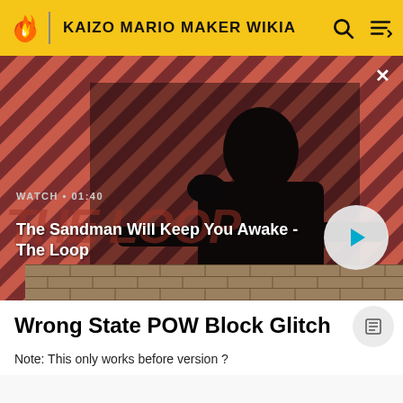KAIZO MARIO MAKER WIKIA
[Figure (screenshot): Video promo banner for 'The Sandman Will Keep You Awake - The Loop' with a dark-themed figure and a bird on shoulder, diagonal red and black striped background, WATCH • 01:40 label, and a circular play button. The Loop logo watermark visible. Brick texture at bottom.]
Wrong State POW Block Glitch
Note: This only works before version ?